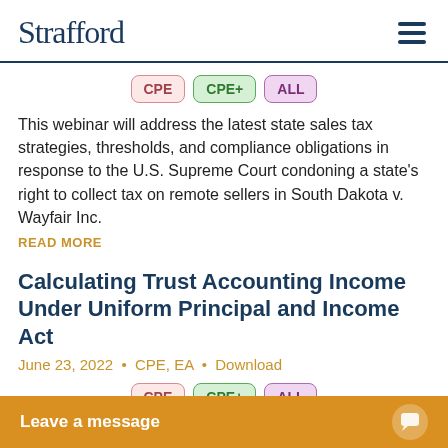Strafford
[Figure (other): Three badge buttons: CPE (pink), CPE+ (green), ALL (purple)]
This webinar will address the latest state sales tax strategies, thresholds, and compliance obligations in response to the U.S. Supreme Court condoning a state's right to collect tax on remote sellers in South Dakota v. Wayfair Inc.
READ MORE
Calculating Trust Accounting Income Under Uniform Principal and Income Act
June 23, 2022  •  CPE, EA  •  Download
[Figure (other): Three badge buttons: CPE (pink), CPE+ (green), ALL (purple)]
This course will provide tax advisors and compliance profess...